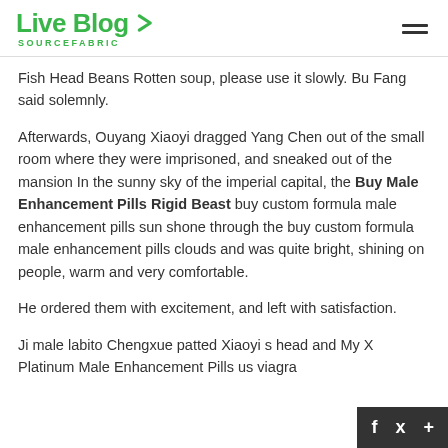Live Blog SOURCEFABRIC
Fish Head Beans Rotten soup, please use it slowly. Bu Fang said solemnly.
Afterwards, Ouyang Xiaoyi dragged Yang Chen out of the small room where they were imprisoned, and sneaked out of the mansion In the sunny sky of the imperial capital, the Buy Male Enhancement Pills Rigid Beast buy custom formula male enhancement pills sun shone through the buy custom formula male enhancement pills clouds and was quite bright, shining on people, warm and very comfortable.
He ordered them with excitement, and left with satisfaction.
Ji male labito Chengxue patted Xiaoyi s head and My X Platinum Male Enhancement Pills us viagra